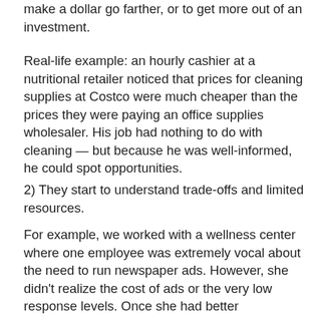make a dollar go farther, or to get more out of an investment.
Real-life example: an hourly cashier at a nutritional retailer noticed that prices for cleaning supplies at Costco were much cheaper than the prices they were paying an office supplies wholesaler. His job had nothing to do with cleaning — but because he was well-informed, he could spot opportunities.
2)  They start to understand trade-offs and limited resources.
For example, we worked with a wellness center where one employee was extremely vocal about the need to run newspaper ads. However, she didn't realize the cost of ads or the very low response levels. Once she had better information, she took the initiative to suggest several really creative ways to find new clients that were much more in tune with both the budget and the target market